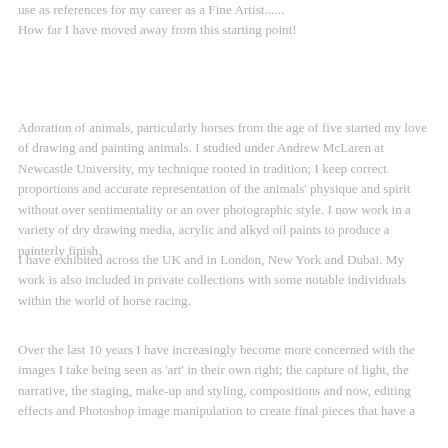use as references for my career as a Fine Artist...... How far I have moved away from this starting point!
Adoration of animals, particularly horses from the age of five started my love of drawing and painting animals. I studied under Andrew McLaren at Newcastle University, my technique rooted in tradition; I keep correct proportions and accurate representation of the animals' physique and spirit without over sentimentality or an over photographic style. I now work in a variety of dry drawing media, acrylic and alkyd oil paints to produce a painterly finish.
I have exhibited across the UK and in London, New York and Dubai. My work is also included in private collections with some notable individuals within the world of horse racing.
Over the last 10 years I have increasingly become more concerned with the images I take being seen as 'art' in their own right; the capture of light, the narrative, the staging, make-up and styling, compositions and now, editing effects and Photoshop image manipulation to create final pieces that have a